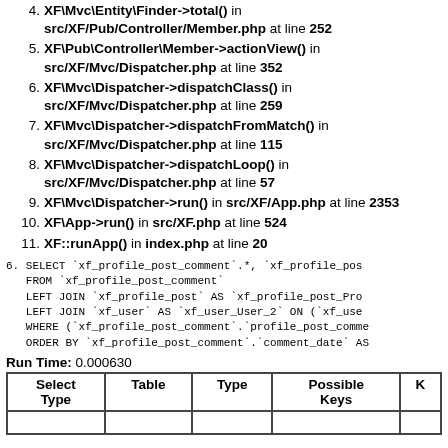4. XF\Mvc\Entity\Finder->total() in src/XF/Pub/Controller/Member.php at line 252
5. XF\Pub\Controller\Member->actionView() in src/XF/Mvc/Dispatcher.php at line 352
6. XF\Mvc\Dispatcher->dispatchClass() in src/XF/Mvc/Dispatcher.php at line 259
7. XF\Mvc\Dispatcher->dispatchFromMatch() in src/XF/Mvc/Dispatcher.php at line 115
8. XF\Mvc\Dispatcher->dispatchLoop() in src/XF/Mvc/Dispatcher.php at line 57
9. XF\Mvc\Dispatcher->run() in src/XF/App.php at line 2353
10. XF\App->run() in src/XF.php at line 524
11. XF::runApp() in index.php at line 20
6. SELECT `xf_profile_post_comment`.*, `xf_profile_pos FROM `xf_profile_post_comment` LEFT JOIN `xf_profile_post` AS `xf_profile_post_Pro LEFT JOIN `xf_user` AS `xf_user_User_2` ON (`xf_use WHERE (`xf_profile_post_comment`.`profile_post_comme ORDER BY `xf_profile_post_comment`.`comment_date` AS
Run Time: 0.000630
| Select Type | Table | Type | Possible Keys | K |
| --- | --- | --- | --- | --- |
|  |  |  |  |  |